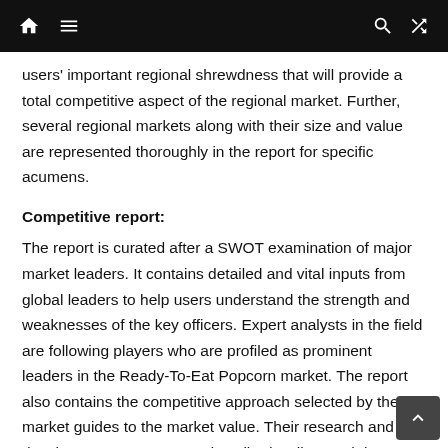[Navigation bar with home, menu, search, and shuffle icons]
users' important regional shrewdness that will provide a total competitive aspect of the regional market. Further, several regional markets along with their size and value are represented thoroughly in the report for specific acumens.
Competitive report:
The report is curated after a SWOT examination of major market leaders. It contains detailed and vital inputs from global leaders to help users understand the strength and weaknesses of the key officers. Expert analysts in the field are following players who are profiled as prominent leaders in the Ready-To-Eat Popcorn market. The report also contains the competitive approach selected by these market guides to the market value. Their research and development process was described well enough by specialists the Ready-To-Eat Popcorn market to help users understand their